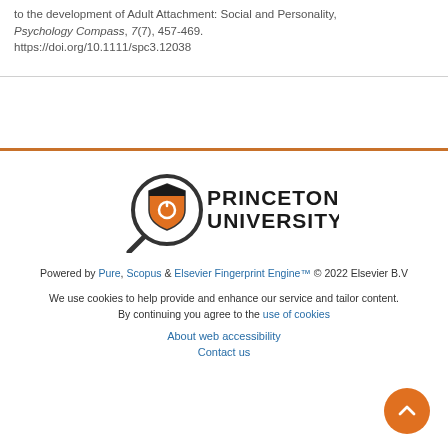to the development of Adult Attachment: Social and Personality, Psychology Compass, 7(7), 457-469. https://doi.org/10.1111/spc3.12038
[Figure (logo): Princeton University logo with magnifying glass icon and shield]
Powered by Pure, Scopus & Elsevier Fingerprint Engine™ © 2022 Elsevier B.V
We use cookies to help provide and enhance our service and tailor content. By continuing you agree to the use of cookies
About web accessibility
Contact us